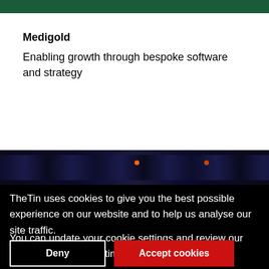Medigold
Enabling growth through bespoke software and strategy
[Figure (photo): Dark horizontal image strip with scattered colored dots/lights on a dark blue-black background]
TheTin uses cookies to give you the best possible experience on our website and to help us analyse our site traffic.
You can update your cookie settings and review our Cookie Policy at any time.
Deny | Accept cookies